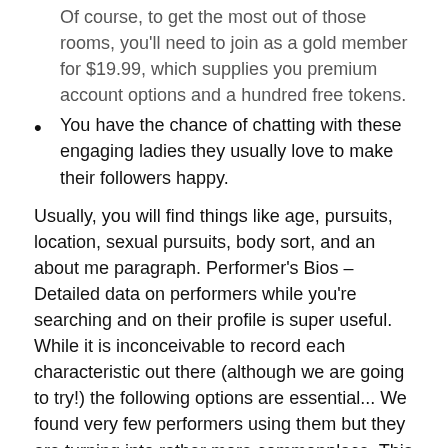Of course, to get the most out of those rooms, you'll need to join as a gold member for $19.99, which supplies you premium account options and a hundred free tokens.
You have the chance of chatting with these engaging ladies they usually love to make their followers happy.
Usually, you will find things like age, pursuits, location, sexual pursuits, body sort, and an about me paragraph. Performer's Bios – Detailed data on performers while you're searching and on their profile is super useful. While it is inconceivable to record each characteristic out there (although we are going to try!) the following options are essential... We found very few performers using them but they are turning into rather more commonplace. This might be like watching a slideshow, you see one picture at a time with no smooth image.
Top Live Sex Cam Sites, Adult Webcam & Porn Cam Site Reviews